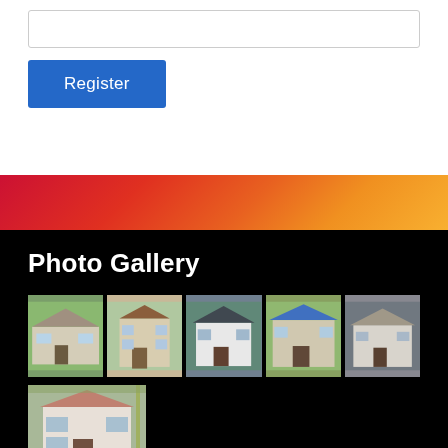[Figure (screenshot): Text input field (empty) at top of registration form]
Register
[Figure (photo): Gradient banner background with red-orange-yellow gradient]
Photo Gallery
[Figure (photo): Row of 5 house/residential property thumbnail photos]
[Figure (photo): Single house/residential property thumbnail photo]
Privacy Policy
Privacy Policy